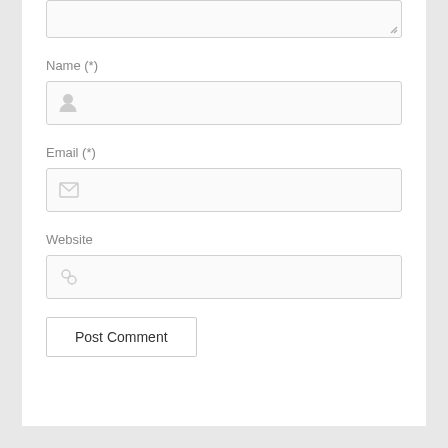[Figure (screenshot): Textarea input box (top portion visible, partially cut off at top) with resize handle at bottom-right corner]
Name (*)
[Figure (screenshot): Name text input field with a person/user icon on the left]
Email (*)
[Figure (screenshot): Email text input field with an envelope/mail icon on the left]
Website
[Figure (screenshot): Website text input field with a link icon on the left]
Post Comment